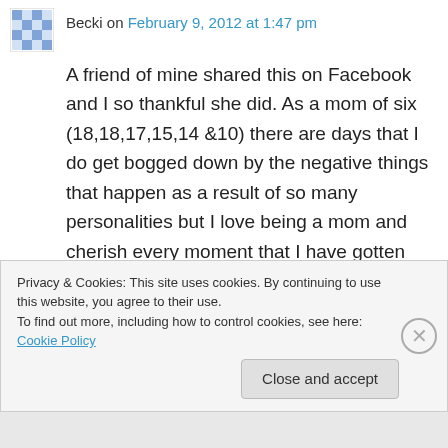Becki on February 9, 2012 at 1:47 pm
A friend of mine shared this on Facebook and I so thankful she did. As a mom of six (18,18,17,15,14 &10) there are days that I do get bogged down by the negative things that happen as a result of so many personalities but I love being a mom and cherish every moment that I have gotten with my children. They are a JOY!!!!!!!!!!!! I will definitely make sure that I pass on the joy not the “just wait” to new and
Privacy & Cookies: This site uses cookies. By continuing to use this website, you agree to their use.
To find out more, including how to control cookies, see here: Cookie Policy